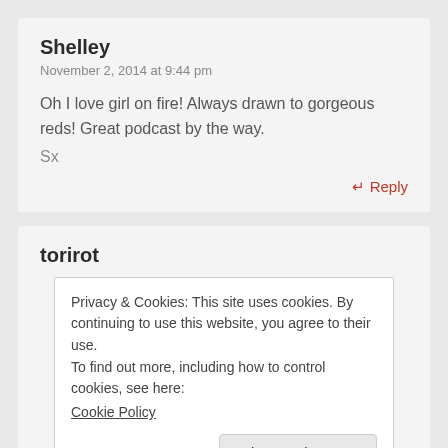Shelley
November 2, 2014 at 9:44 pm
Oh I love girl on fire! Always drawn to gorgeous reds! Great podcast by the way.
Sx
↵ Reply
torirot
Privacy & Cookies: This site uses cookies. By continuing to use this website, you agree to their use.
To find out more, including how to control cookies, see here:
Cookie Policy
Close and accept